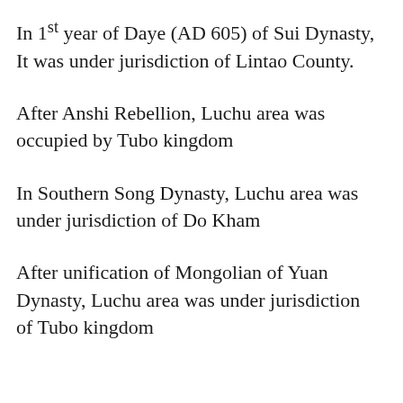In 1st year of Daye (AD 605) of Sui Dynasty, It was under jurisdiction of Lintao County.
After Anshi Rebellion, Luchu area was occupied by Tubo kingdom
In Southern Song Dynasty, Luchu area was under jurisdiction of Do Kham
After unification of Mongolian of Yuan Dynasty, Luchu area was under jurisdiction of Tubo kingdom